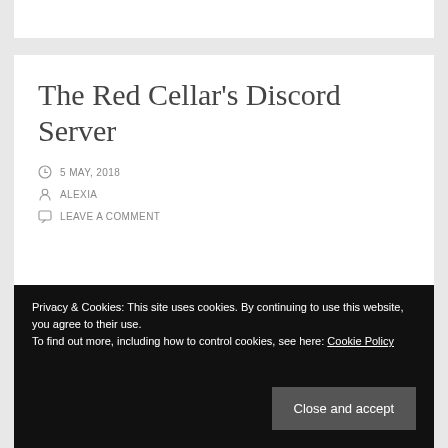The Red Cellar’s Discord Server
5 MAY, 2018
ALEXIA
LEAVE A COMMENT
Privacy & Cookies: This site uses cookies. By continuing to use this website, you agree to their use.
To find out more, including how to control cookies, see here: Cookie Policy
Close and accept